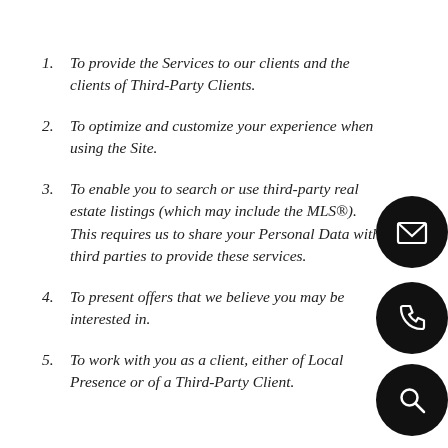To provide the Services to our clients and the clients of Third-Party Clients.
To optimize and customize your experience when using the Site.
To enable you to search or use third-party real estate listings (which may include the MLS®). This requires us to share your Personal Data with third parties to provide these services.
To present offers that we believe you may be interested in.
To work with you as a client, either of Local Presence or of a Third-Party Client.